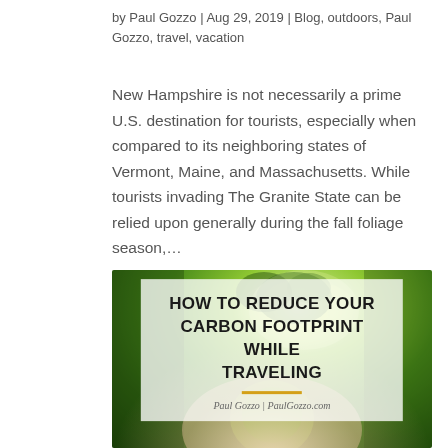by Paul Gozzo | Aug 29, 2019 | Blog, outdoors, Paul Gozzo, travel, vacation
New Hampshire is not necessarily a prime U.S. destination for tourists, especially when compared to its neighboring states of Vermont, Maine, and Massachusetts. While tourists invading The Granite State can be relied upon generally during the fall foliage season,...
[Figure (photo): A hand holding a glowing green sphere with green leaves on top, against a bokeh green background. Overlaid with a semi-transparent white box containing the title 'HOW TO REDUCE YOUR CARBON FOOTPRINT WHILE TRAVELING' and byline 'Paul Gozzo | PaulGozzo.com']